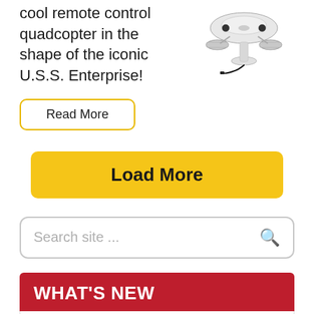cool remote control quadcopter in the shape of the iconic U.S.S. Enterprise!
[Figure (photo): Photo of a remote control quadcopter drone shaped like the U.S.S. Enterprise from Star Trek, white with black accents, shown with a charging cable.]
Read More
Load More
Search site ...
WHAT'S NEW
U.S.S. Enterprise Star Trek RC Drone
Patriotic Skins for Phantom 3